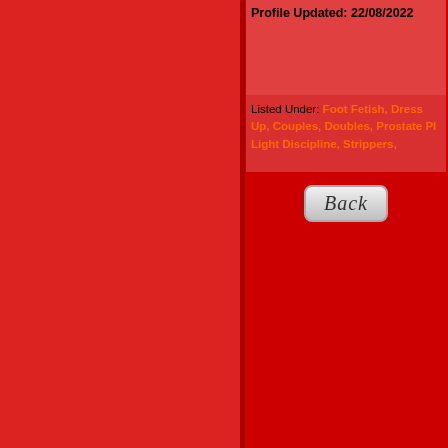Profile Updated: 22/08/2022
Listed Under: Foot Fetish, Dress Up, Couples, Doubles, Prostate Pl, Light Discipline, Strippers,
[Figure (other): Back button with cursive/italic text reading 'Back']
View Videos, New Escorts, Top Ten, the Fo
[Figure (photo): Photo of two women at bottom of page]
Beautiful sexy escorts from Johannesl bring you a variety of escorts that cate fetishes, romance, massage, de-stre